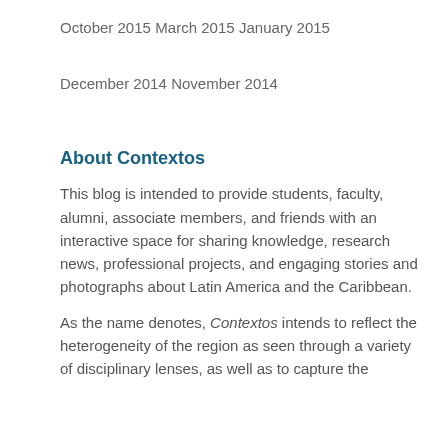October 2015
March 2015
January 2015
December 2014
November 2014
About Contextos
This blog is intended to provide students, faculty, alumni, associate members, and friends with an interactive space for sharing knowledge, research news, professional projects, and engaging stories and photographs about Latin America and the Caribbean.
As the name denotes, Contextos intends to reflect the heterogeneity of the region as seen through a variety of disciplinary lenses, as well as to capture the